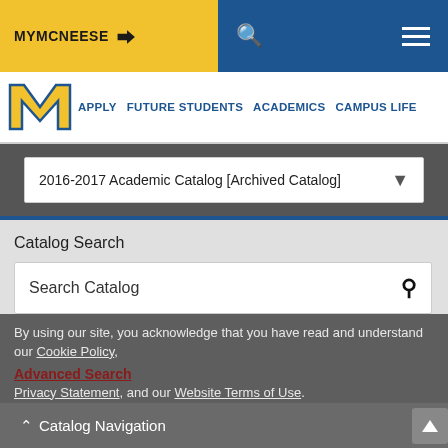MYMCNEESE
APPLY  FUTURE STUDENTS  ACADEMICS  CAMPUS LIFE
2016-2017 Academic Catalog [Archived Catalog]
Catalog Search
Search Catalog
By using our site, you acknowledge that you have read and understand our Cookie Policy, Privacy Statement, and our Website Terms of Use.
Advanced Search
Catalog Navigation
I Agree
[Archived Catalog]